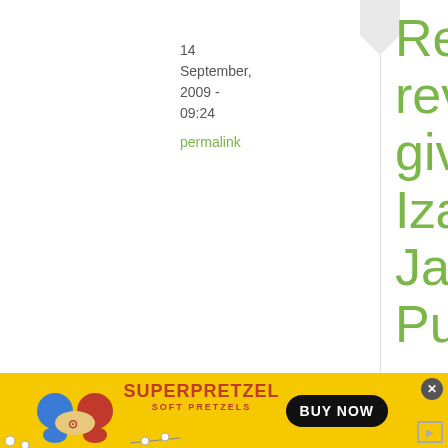14 September, 2009 - 09:24
permalink
Re: Book review and giveaway: Izakaya, the Japanese Pub ...
Well, this is embarrassing, but I like a glass of wine and potato chips dipped in cottage
[Figure (other): Advertisement banner for SuperPretzel Soft Pretzels with yellow background, cartoon characters, logo, and BUY NOW button]